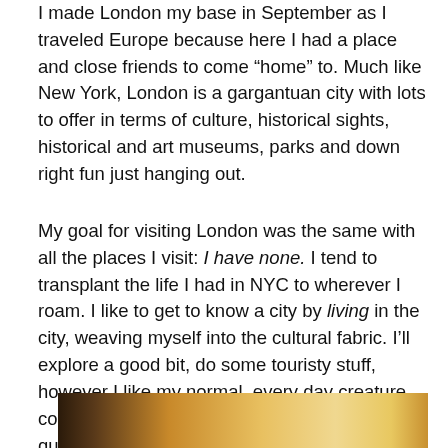I made London my base in September as I traveled Europe because here I had a place and close friends to come “home” to. Much like New York, London is a gargantuan city with lots to offer in terms of culture, historical sights, historical and art museums, parks and down right fun just hanging out.
My goal for visiting London was the same with all the places I visit: I have none. I tend to transplant the life I had in NYC to wherever I roam. I like to get to know a city by living in the city, weaving myself into the cultural fabric. I’ll explore a good bit, do some touristy stuff, however I like my normal, every day creature comforts of a good coffee in the morning, a quiet place to read and work on grad school applications, and a nice pint to go to bed to.
[Figure (photo): Bottom portion of a photo showing what appears to be a wooden surface or table, with warm golden-brown tones, partially cut off at the bottom of the page.]